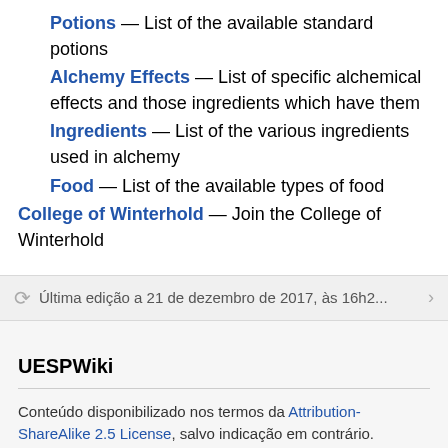Potions — List of the available standard potions
Alchemy Effects — List of specific alchemical effects and those ingredients which have them
Ingredients — List of the various ingredients used in alchemy
Food — List of the available types of food
College of Winterhold — Join the College of Winterhold
Última edição a 21 de dezembro de 2017, às 16h2...
UESPWiki
Conteúdo disponibilizado nos termos da Attribution-ShareAlike 2.5 License, salvo indicação em contrário.
Privacidade • Versão desktop